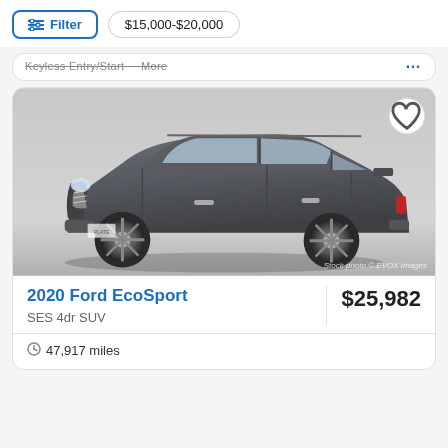Filter   $15,000-$20,000
Keyless Entry/Start   More   ...
[Figure (photo): 2020 Ford EcoSport SES 4dr SUV in dark gray, three-quarter front view. Stock photo © EVOX Images.]
2020 Ford EcoSport
$25,982
SES 4dr SUV
47,917 miles